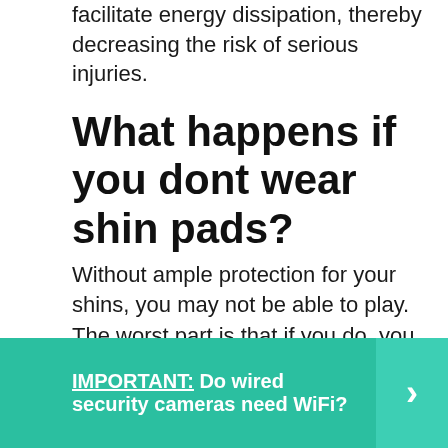facilitate energy dissipation, thereby decreasing the risk of serious injuries.
What happens if you dont wear shin pads?
Without ample protection for your shins, you may not be able to play. The worst part is that if you do, you may end up with several cuts, abrasions or even a broken shin bone. Protecting your shin reduces your vulnerability on the soccer field and enables you to play with reduced fear.
IMPORTANT:  Do wired security cameras need WiFi?